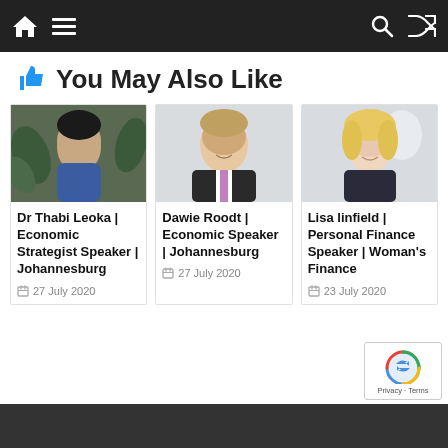[Navigation bar with home, menu, search, shuffle icons]
You May Also Like
[Figure (photo): Profile photo of Dr Thabi Leoka, a woman smiling in front of green plants]
Dr Thabi Leoka | Economic Strategist Speaker | Johannesburg
27 July 2020
[Figure (photo): Profile photo of Dawie Roodt, a man in a suit smiling]
Dawie Roodt | Economic Speaker | Johannesburg
27 July 2020
[Figure (photo): Profile photo of Lisa linfield, a blonde woman smiling in an office setting]
Lisa linfield | Personal Finance Speaker | Woman's Finance
23 July 2020
[Dark footer bar]